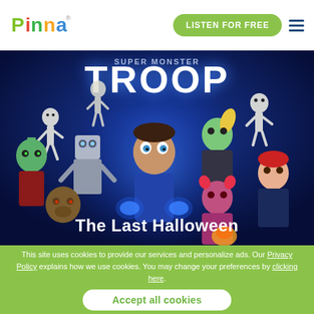Pinna — LISTEN FOR FREE
[Figure (illustration): Animated illustration showing cartoon monster characters including skeletons, Frankenstein, a werewolf, a robot, a zombie girl, a devil girl, a redhead girl, and a central boy with glowing blue magic hands. Title text 'TROOP' appears at top and 'The Last Halloween' at the bottom. Dark blue atmospheric background.]
This site uses cookies to provide our services and personalize ads. Our Privacy Policy explains how we use cookies. You may change your preferences by clicking here.
Accept all cookies